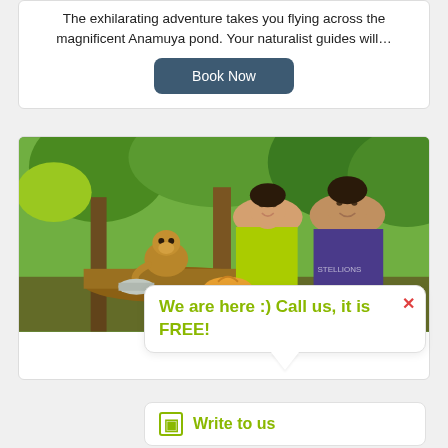The exhilarating adventure takes you flying across the magnificent Anamuya pond. Your naturalist guides will…
Book Now
[Figure (photo): A woman in a yellow top and a man in a purple t-shirt interact with a small squirrel monkey sitting on a log in a tropical jungle setting. The monkey is eating from a metal bowl held by the visitors.]
We are here :) Call us, it is FREE!
Write to us